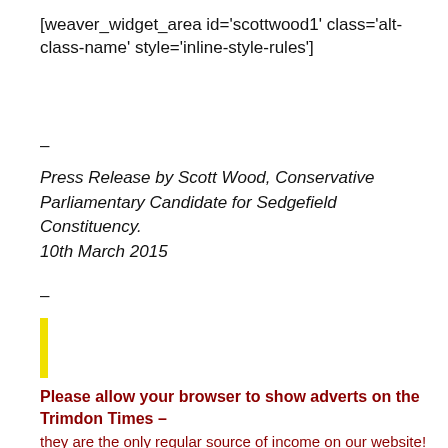[weaver_widget_area id='scottwood1' class='alt-class-name' style='inline-style-rules']
–
Press Release by Scott Wood, Conservative Parliamentary Candidate for Sedgefield Constituency.
10th March 2015
–
[Figure (other): Yellow vertical bar/exclamation mark graphic element]
Please allow your browser to show adverts on the Trimdon Times – they are the only regular source of income on our website! Clicking on an advert helps to pay the bills. How the website is paid for is explained here. Many thanks to the people who have helped support the website by Paypal donations.